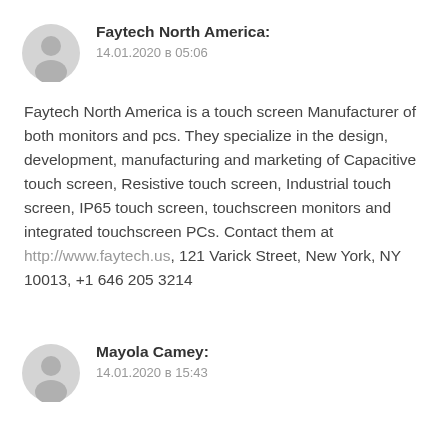[Figure (illustration): Gray circular avatar icon for Faytech North America comment]
Faytech North America:
14.01.2020 в 05:06
Faytech North America is a touch screen Manufacturer of both monitors and pcs. They specialize in the design, development, manufacturing and marketing of Capacitive touch screen, Resistive touch screen, Industrial touch screen, IP65 touch screen, touchscreen monitors and integrated touchscreen PCs. Contact them at http://www.faytech.us, 121 Varick Street, New York, NY 10013, +1 646 205 3214
[Figure (illustration): Gray circular avatar icon for Mayola Camey comment]
Mayola Camey:
14.01.2020 в 15:43